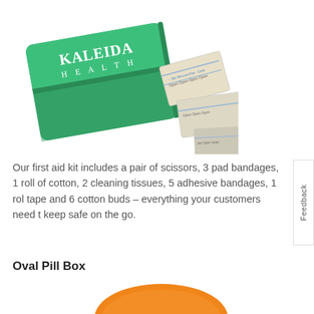[Figure (photo): First aid kit with green Kaleida Health branded case and bandages/medical supplies spread out next to it]
Our first aid kit includes a pair of scissors, 3 pad bandages, 1 roll of cotton, 2 cleaning tissues, 5 adhesive bandages, 1 rol tape and 6 cotton buds – everything your customers need t keep safe on the go.
Oval Pill Box
[Figure (photo): Orange oval pill box partially visible at bottom of page]